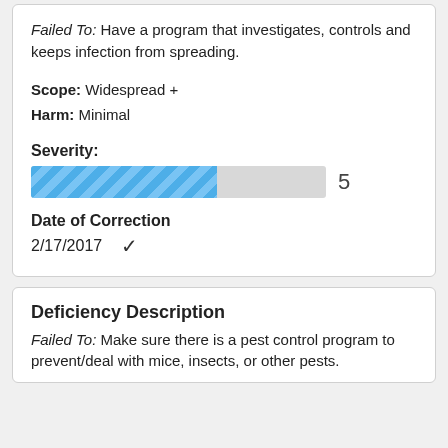Failed To: Have a program that investigates, controls and keeps infection from spreading.
Scope: Widespread +
Harm: Minimal
Severity:
[Figure (other): Severity progress bar showing value 5 out of approximately 8, with blue diagonal hatching pattern fill on gray background]
Date of Correction
2/17/2017 ✓
Deficiency Description
Failed To: Make sure there is a pest control program to prevent/deal with mice, insects, or other pests.